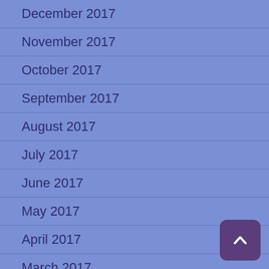December 2017
November 2017
October 2017
September 2017
August 2017
July 2017
June 2017
May 2017
April 2017
March 2017
February 2017
January 2017